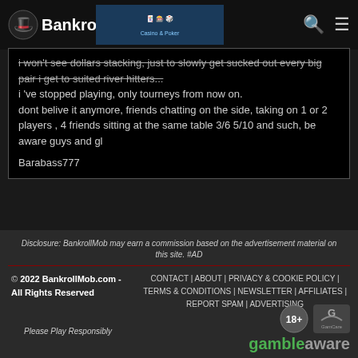The BankrollMob
i won't see dollars stacking, just to slowly get sucked out every big pair i get to suited river hitters...
i 've stopped playing, only tourneys from now on.
dont belive it anymore, friends chatting on the side, taking on 1 or 2 players , 4 friends sitting at the same table 3/6 5/10 and such, be aware guys and gl

Barabass777
Write a comment:
You must be logged in, to comment on news...
Disclosure: BankrollMob may earn a commission based on the advertisement material on this site. #AD
© 2022 BankrollMob.com - All Rights Reserved | CONTACT | ABOUT | PRIVACY & COOKIE POLICY | TERMS & CONDITIONS | NEWSLETTER | AFFILIATES | REPORT SPAM | ADVERTISING
Please Play Responsibly